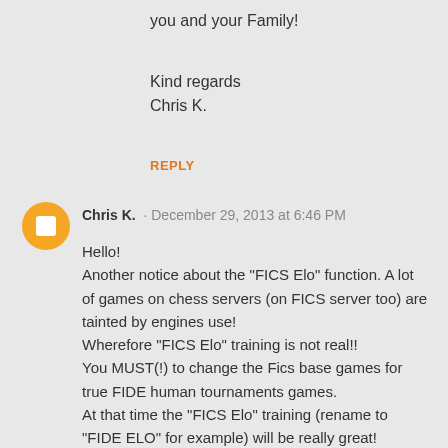you and your Family!
Kind regards
Chris K.
REPLY
Chris K.  · December 29, 2013 at 6:46 PM
Hello!
Another notice about the "FICS Elo" function. A lot of games on chess servers (on FICS server too) are tainted by engines use!
Wherefore "FICS Elo" training is not real!!
You MUST(!) to change the Fics base games for true FIDE human tournaments games.
At that time the "FICS Elo" training (rename to "FIDE ELO" for example) will be really great!
PLEASE DO IT!!!!!